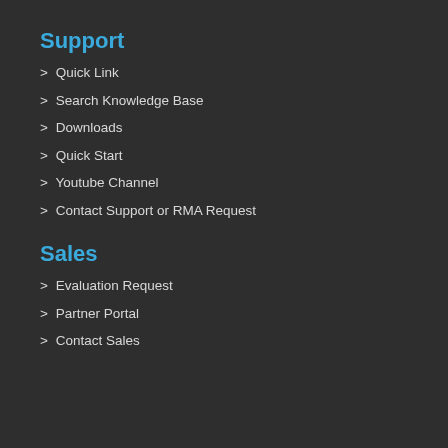Support
> Quick Link
> Search Knowledge Base
> Downloads
> Quick Start
> Youtube Channel
> Contact Support or RMA Request
Sales
> Evaluation Request
> Partner Portal
> Contact Sales